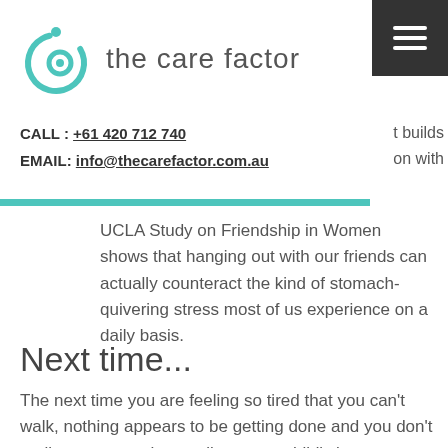[Figure (logo): The Care Factor logo: teal circular swirl with dot, beside text 'the care factor']
CALL : +61 420 712 740
EMAIL: info@thecarefactor.com.au
UCLA Study on Friendship in Women shows that hanging out with our friends can actually counteract the kind of stomach-quivering stress most of us experience on a daily basis.
Next time...
The next time you are feeling so tired that you can't walk, nothing appears to be getting done and you don't really care enough to smile at your child's joy - start at